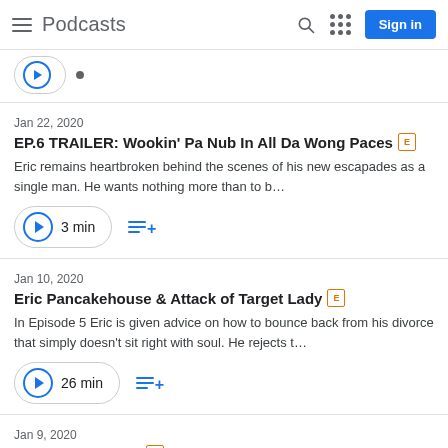Podcasts
Jan 22, 2020
EP.6 TRAILER: Wookin' Pa Nub In All Da Wong Paces [E]
Eric remains heartbroken behind the scenes of his new escapades as a single man. He wants nothing more than to b...
3 min
Jan 10, 2020
Eric Pancakehouse & Attack of Target Lady [E]
In Episode 5 Eric is given advice on how to bounce back from his divorce that simply doesn't sit right with soul. He rejects t...
26 min
Jan 9, 2020
Midseason Trailer [E]